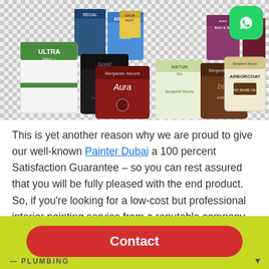[Figure (photo): Collection of Benjamin Moore paint cans arranged together on a checkered background, with a WhatsApp icon in the top right corner. Cans include Ultra Spec, Aura, Natura, Arborcoat, and other paint product lines.]
This is yet another reason why we are proud to give our well-known Painter Dubai a 100 percent Satisfaction Guarantee – so you can rest assured that you will be fully pleased with the end product. So, if you're looking for a low-cost but professional interior painting service from a reputable company, give Painter Dubai a call today or fill out our free quote form.
[Figure (other): Yellow-green banner at the bottom with a red rounded Contact button in white bold text, and PLUMBING text in the lower left corner with a downward arrow.]